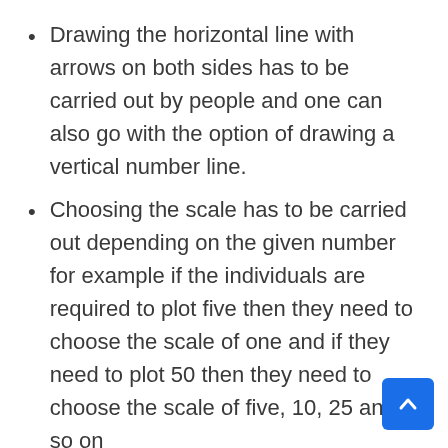Drawing the horizontal line with arrows on both sides has to be carried out by people and one can also go with the option of drawing a vertical number line.
Choosing the scale has to be carried out depending on the given number for example if the individuals are required to plot five then they need to choose the scale of one and if they need to plot 50 then they need to choose the scale of five, 10, 25 and so on
After this people need to mark the points at equal intervals
Now, one will need to look at the given